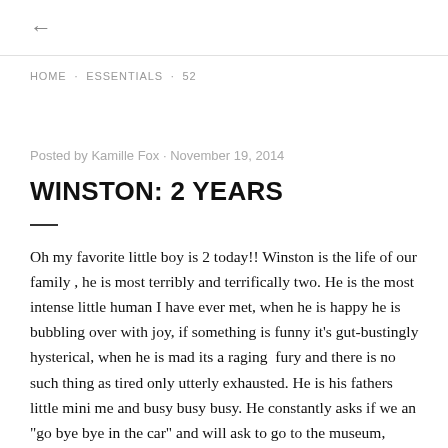←
HOME · ESSENTIALS · 52
Posted by Kamille Fox · November 19, 2014
WINSTON: 2 YEARS
Oh my favorite little boy is 2 today!! Winston is the life of our family , he is most terribly and terrifically two. He is the most intense little human I have ever met, when he is happy he is bubbling over with joy, if something is funny it's gut-bustingly hysterical, when he is mad its a raging  fury and there is no such thing as tired only utterly exhausted. He is his fathers little mini me and busy busy busy. He constantly asks if we an "go bye bye in the car" and will ask to go to the museum, store, or the